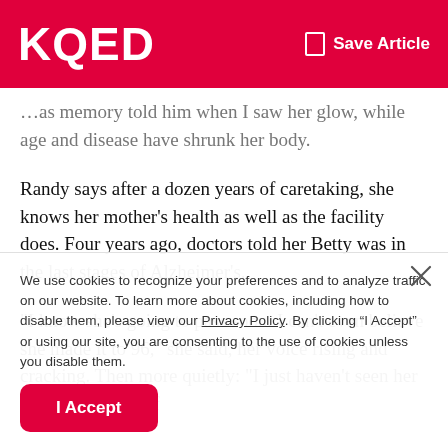KQED  Save Article
...as memory told him when I saw her glow, while age and disease have shrunk her body.
Randy says after a dozen years of caretaking, she knows her mother's health as well as the facility does. Four years ago, doctors told her Betty was in the last stages of Alzheimer's.
"I know she's going to pass soon. I can't even believe she made it to 96," she said, her voice rising and cracking. Then more quietly: "I just haven't seen her for two-and-a-half
We use cookies to recognize your preferences and to analyze traffic on our website. To learn more about cookies, including how to disable them, please view our Privacy Policy. By clicking “I Accept” or using our site, you are consenting to the use of cookies unless you disable them.
I Accept